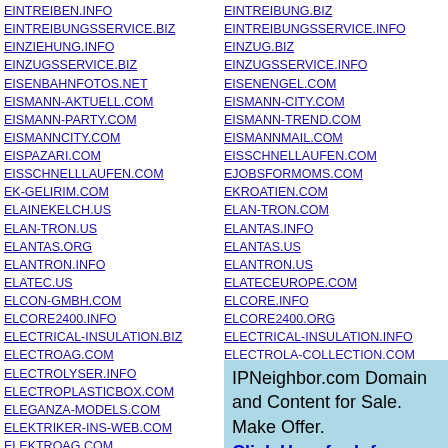EINTREIBEN.INFO
EINTREIBUNGSSERVICE.BIZ
EINZIEHUNG.INFO
EINZUGSSERVICE.BIZ
EISENBAHNFOTOS.NET
EISMANN-AKTUELL.COM
EISMANN-PARTY.COM
EISMANNCITY.COM
EISPAZARI.COM
EISSCHNELLLAUFEN.COM
EK-GELIRIM.COM
ELAINEKELCH.US
ELAN-TRON.US
ELANTAS.ORG
ELANTRON.INFO
ELATEC.US
ELCON-GMBH.COM
ELCORE2400.INFO
ELECTRICAL-INSULATION.BIZ
ELECTROAG.COM
ELECTROLYSER.INFO
ELECTROPLASTICBOX.COM
ELEGANZA-MODELS.COM
ELEKTRIKER-INS-WEB.COM
ELEKTROAG.COM
ELEKTROLYSEURE.INFO
ELEKTRORADPROFI.COM
ELEMENTSNOIRS.COM
EINTREIBUNG.BIZ
EINTREIBUNGSSERVICE.INFO
EINZUG.BIZ
EINZUGSSERVICE.INFO
EISENENGEL.COM
EISMANN-CITY.COM
EISMANN-TREND.COM
EISMANNMAIL.COM
EISSCHNELLAUFEN.COM
EJOBSFORMOMS.COM
EKROATIEN.COM
ELAN-TRON.COM
ELANTAS.INFO
ELANTAS.US
ELANTRON.US
ELATECEUROPE.COM
ELCORE.INFO
ELCORE2400.ORG
ELECTRICAL-INSULATION.INFO
ELECTROLA-COLLECTION.COM
ELECTROLYZER.INFO
ELECTROVIRGO.COM
ELEKTA.BIZ
ELEKTRO-AG.COM
IPNeighbor.com Domain and Content for Sale. Make Offer. Click Here for Info